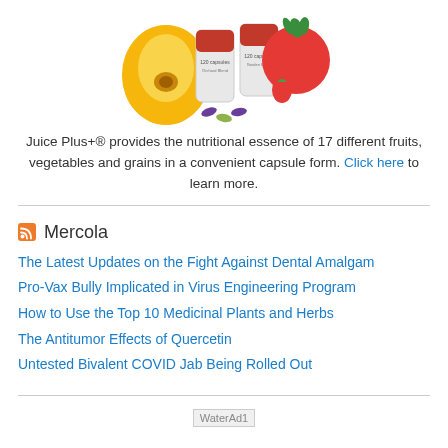[Figure (photo): Product image of Juice Plus+ capsule containers with fruits and vegetables including peach, strawberry, tomato, and greens]
Juice Plus+® provides the nutritional essence of 17 different fruits, vegetables and grains in a convenient capsule form. Click here to learn more.
Mercola
The Latest Updates on the Fight Against Dental Amalgam
Pro-Vax Bully Implicated in Virus Engineering Program
How to Use the Top 10 Medicinal Plants and Herbs
The Antitumor Effects of Quercetin
Untested Bivalent COVID Jab Being Rolled Out
[Figure (photo): WaterAd1 advertisement image]